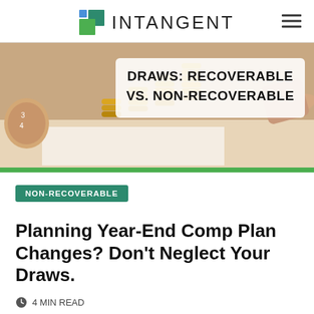INTANGENT
[Figure (photo): Photo of stacked coins on a paper surface with a clock in the background. Overlaid text reads: DRAWS: RECOVERABLE VS. NON-RECOVERABLE. Green bar at bottom of image.]
NON-RECOVERABLE
Planning Year-End Comp Plan Changes? Don't Neglect Your Draws.
4 MIN READ